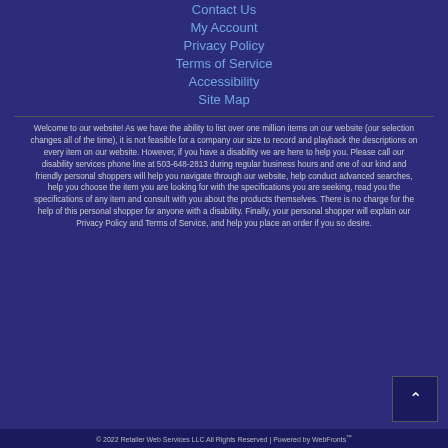Contact Us
My Account
Privacy Policy
Terms of Service
Accessibility
Site Map
Welcome to our website! As we have the ability to list over one million items on our website (our selection changes all of the time), it is not feasible for a company our size to record and playback the descriptions on every item on our website. However, if you have a disability we are here to help you. Please call our disability services phone line at 503-648-2813 during regular business hours and one of our kind and friendly personal shoppers will help you navigate through our website, help conduct advanced searches, help you choose the item you are looking for with the specifications you are seeking, read you the specifications of any item and consult with you about the products themselves. There is no charge for the help of this personal shopper for anyone with a disability. Finally, your personal shopper will explain our Privacy Policy and Terms of Service, and help you place an order if you so desire.
© 2022 Retailer Web Services LLC All Rights Reserved | Powered by WebFronts™